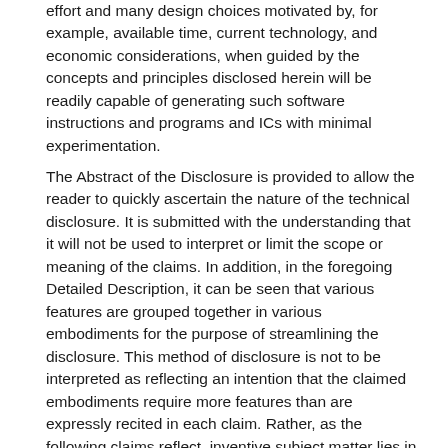effort and many design choices motivated by, for example, available time, current technology, and economic considerations, when guided by the concepts and principles disclosed herein will be readily capable of generating such software instructions and programs and ICs with minimal experimentation.
The Abstract of the Disclosure is provided to allow the reader to quickly ascertain the nature of the technical disclosure. It is submitted with the understanding that it will not be used to interpret or limit the scope or meaning of the claims. In addition, in the foregoing Detailed Description, it can be seen that various features are grouped together in various embodiments for the purpose of streamlining the disclosure. This method of disclosure is not to be interpreted as reflecting an intention that the claimed embodiments require more features than are expressly recited in each claim. Rather, as the following claims reflect, inventive subject matter lies in less than all features of a single disclosed embodiment. Thus the following claims are hereby incorporated into the Detailed Description, with each claim standing on its own as a separately claimed subject matter.